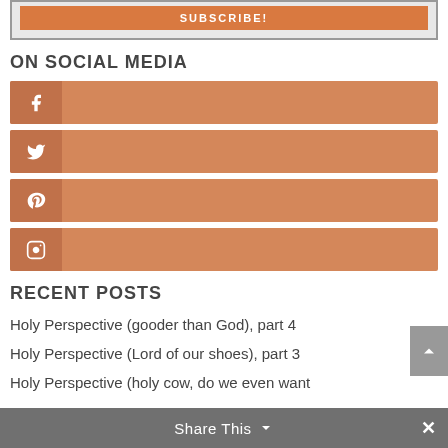[Figure (screenshot): Subscribe button in a grey bordered box]
ON SOCIAL MEDIA
[Figure (infographic): Four social media buttons (Facebook, Twitter, Pinterest, Instagram) in orange/salmon color]
RECENT POSTS
Holy Perspective (gooder than God), part 4
Holy Perspective (Lord of our shoes), part 3
Holy Perspective (holy cow, do we even want
Share This